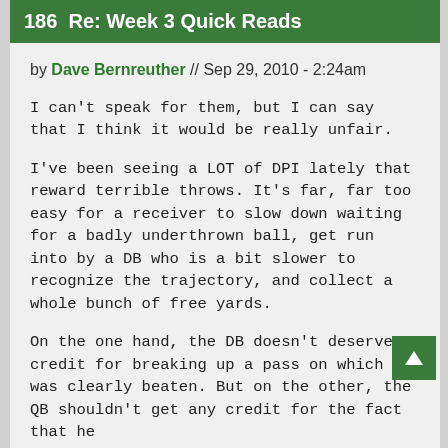186  Re: Week 3 Quick Reads
by Dave Bernreuther // Sep 29, 2010 - 2:24am
I can't speak for them, but I can say that I think it would be really unfair.
I've been seeing a LOT of DPI lately that reward terrible throws. It's far, far too easy for a receiver to slow down waiting for a badly underthrown ball, get run into by a DB who is a bit slower to recognize the trajectory, and collect a whole bunch of free yards.
On the one hand, the DB doesn't deserve credit for breaking up a pass on which he was clearly beaten. But on the other, the QB shouldn't get any credit for the fact that he